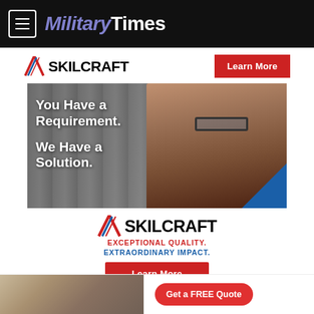MilitaryTimes
[Figure (illustration): SKILCRAFT advertisement banner with logo, 'Learn More' button, photo of smiling woman with glasses, text 'You Have a Requirement. We Have a Solution.', SKILCRAFT logo, tagline 'EXCEPTIONAL QUALITY. EXTRAORDINARY IMPACT.', and 'Learn More' button]
That money was meant to restore much-needed readiness, the
[Figure (photo): Bottom banner advertisement showing kitchen interior image and 'Get a FREE Quote' button]